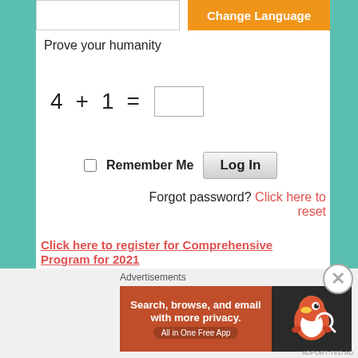Change Language
Prove your humanity
Remember Me
Log In
Forgot password? Click here to reset
Click here to register for Comprehensive Program for 2021
Click here to register for Comprehensive
Advertisements
[Figure (screenshot): DuckDuckGo advertisement banner: Search, browse, and email with more privacy. All in One Free App. DuckDuckGo logo.]